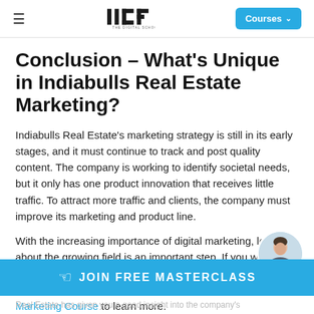IIDE – THE DIGITAL SCHOOL | Courses
Conclusion – What's Unique in Indiabulls Real Estate Marketing?
Indiabulls Real Estate's marketing strategy is still in its early stages, and it must continue to track and post quality content. The company is working to identify societal needs, but it only has one product innovation that receives little traffic. To attract more traffic and clients, the company must improve its marketing and product line.
With the increasing importance of digital marketing, learning about the growing field is an important step. If you would like to learn more and develop skills, check out IIDE's 4 Month Digital Marketing Course to learn more.
Real Estate has given you a good insight into the company's